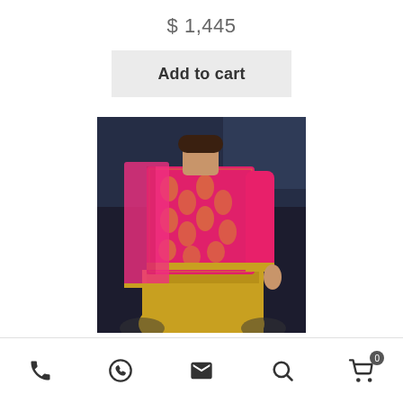$ 1,445
Add to cart
[Figure (photo): Fashion model wearing a pink and gold embroidered Indian outfit (salwar kameez/suit) with bright magenta/hot pink long sleeves and gold embroidery, gold lehenga/pants visible, photographed at an event.]
Phone | WhatsApp | Email | Search | Cart (0)